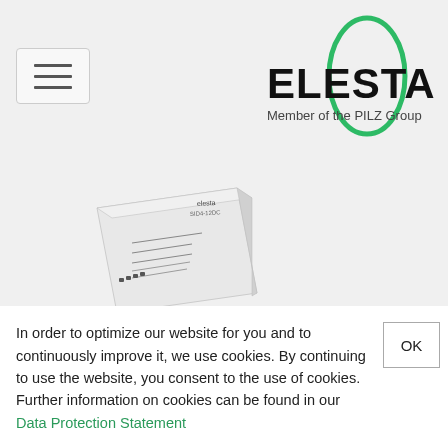[Figure (logo): ELESTA logo — oval green ellipse outline with bold black ELESTA text and 'Member of the PILZ Group' tagline beneath]
[Figure (photo): Small rectangular white electronic module/relay device, the SID4 series product from Elesta]
SID4 Series
In order to optimize our website for you and to continuously improve it, we use cookies. By continuing to use the website, you consent to the use of cookies. Further information on cookies can be found in our Data Protection Statement